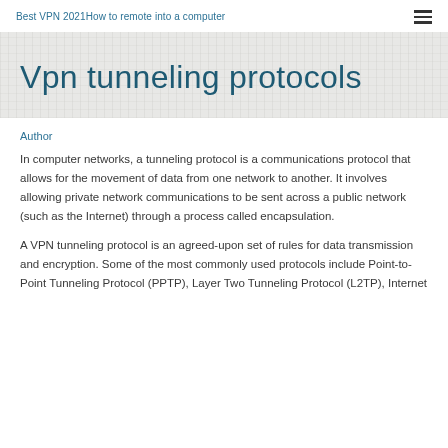Best VPN 2021How to remote into a computer
Vpn tunneling protocols
Author
In computer networks, a tunneling protocol is a communications protocol that allows for the movement of data from one network to another. It involves allowing private network communications to be sent across a public network (such as the Internet) through a process called encapsulation.
A VPN tunneling protocol is an agreed-upon set of rules for data transmission and encryption. Some of the most commonly used protocols include Point-to-Point Tunneling Protocol (PPTP), Layer Two Tunneling Protocol (L2TP), Internet